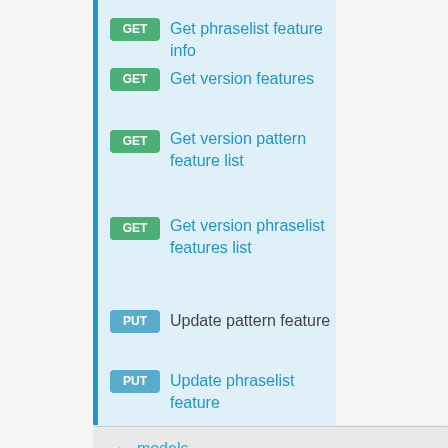GET Get phraselist feature info
GET Get version features
GET Get version pattern feature list
GET Get version phraselist features list
PUT Update pattern feature
PUT Update phraselist feature
▶ models
▶ patterns
▶ permissions
▶ train